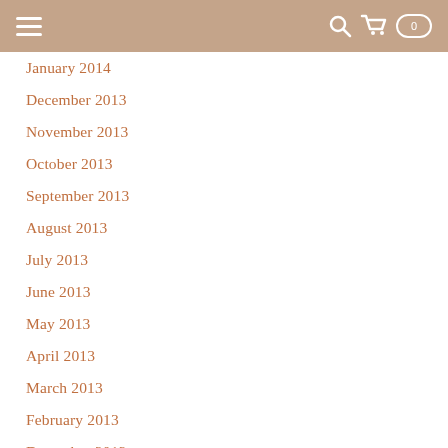Navigation header with hamburger menu and cart icon
January 2014
December 2013
November 2013
October 2013
September 2013
August 2013
July 2013
June 2013
May 2013
April 2013
March 2013
February 2013
December 2012
November 2012
October 2012
September 2012
August 2012
July 2012
June 2012